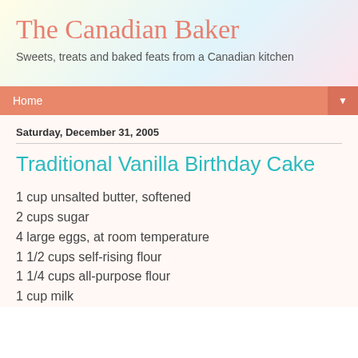The Canadian Baker
Sweets, treats and baked feats from a Canadian kitchen
Home
Saturday, December 31, 2005
Traditional Vanilla Birthday Cake
1 cup unsalted butter, softened
2 cups sugar
4 large eggs, at room temperature
1 1/2 cups self-rising flour
1 1/4 cups all-purpose flour
1 cup milk